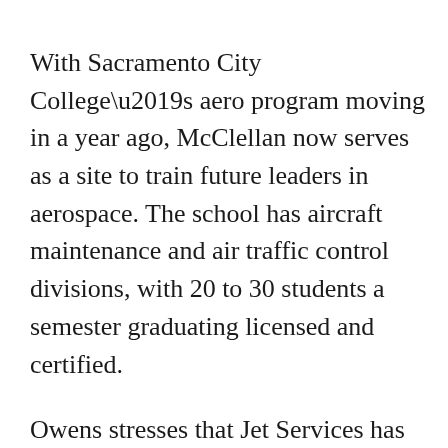With Sacramento City College’s aero program moving in a year ago, McClellan now serves as a site to train future leaders in aerospace. The school has aircraft maintenance and air traffic control divisions, with 20 to 30 students a semester graduating licensed and certified.
Owens stresses that Jet Services has been proactive with airport security measures. The business park and airport security regularly patrols the facilities, he says. Jet Services has opted to install video surveillance